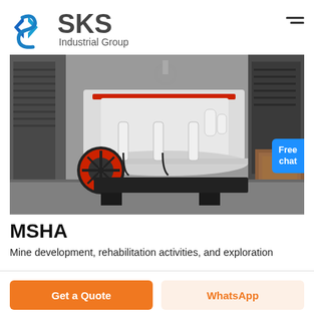[Figure (logo): SKS Industrial Group logo with blue diamond S icon and dark gray text]
[Figure (photo): Industrial cone crusher machine in a factory setting, white with red accents, black flywheel, hydraulic cylinders visible]
MSHA
Mine development, rehabilitation activities, and exploration
Get a Quote
WhatsApp